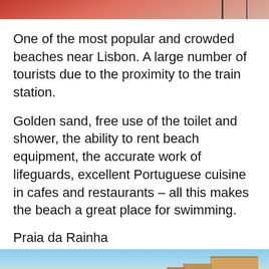[Figure (photo): Top portion of a beach photo showing red beach umbrellas or chairs against a light background, partially cropped]
One of the most popular and crowded beaches near Lisbon. A large number of tourists due to the proximity to the train station.
Golden sand, free use of the toilet and shower, the ability to rent beach equipment, the accurate work of lifeguards, excellent Portuguese cuisine in cafes and restaurants – all this makes the beach a great place for swimming.
Praia da Rainha
[Figure (photo): Bottom portion of a beach photo showing blue sky, sea, and buildings in the background, partially cropped]
Save Up to $100 on Brakes & Rotors at Virginia Tire & Auto